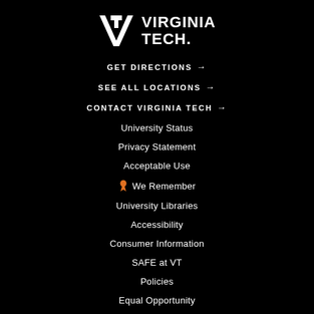[Figure (logo): Virginia Tech logo with VT monogram and 'VIRGINIA TECH.' text in white on black background]
GET DIRECTIONS →
SEE ALL LOCATIONS →
CONTACT VIRGINIA TECH →
University Status
Privacy Statement
Acceptable Use
🎗 We Remember
University Libraries
Accessibility
Consumer Information
SAFE at VT
Policies
Equal Opportunity